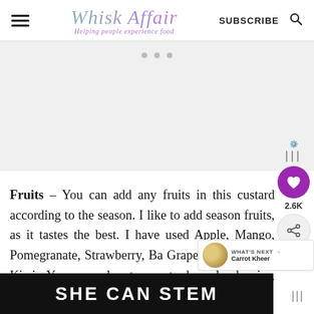Whisk Affair — Helping people experience food | SUBSCRIBE
[Figure (other): Advertisement placeholder area, light gray background]
Fruits – You can add any fruits in this custard according to the season. I like to add seasonal fruits, as it tastes the best. I have used Apple, Mango, Pomegranate, Strawberry, Banana, Grapes, Orange, and Kiwi. You can also try custard apple, berries, chikoo, cantaloupe
[Figure (other): SHE CAN STEM advertisement banner at bottom, dark background with white bold text]